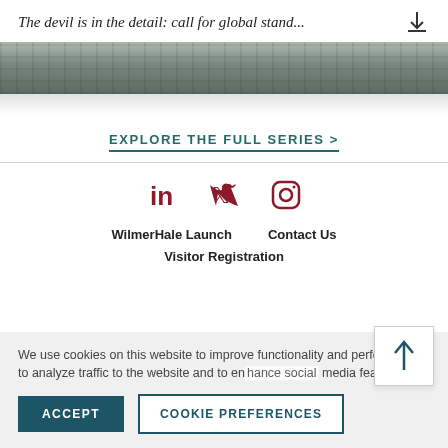The devil is in the detail: call for global stand...
[Figure (photo): Aerial photo of an urban street scene, partially visible as a cropped strip at the top of the content area.]
EXPLORE THE FULL SERIES >
WilmerHale Launch    Contact Us
Visitor Registration
We use cookies on this website to improve functionality and performance, to analyze traffic to the website and to enhance social media features.
ACCEPT
COOKIE PREFERENCES